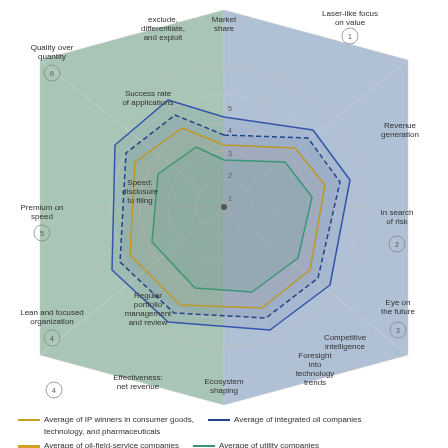[Figure (radar-chart): Radar/spider chart with 12 axes labeled: Quality over quantity (6), Market share, exclude/differentiate/and exploit, Laser-like focus on value (1), Revenue generation, In search of risk, Freedom to operate (2), Eye on the future (3), Foresight into technology trends, Ecosystem shaping, Effectiveness: net revenue, Regular portfolio management and review, Speed: disclosure to filing (5), Premium on speed (5), Lean and focused organization (4), Competitive intelligence. Multiple overlapping polygons in different colors.]
Average of IP winners in consumer goods, technology, and pharmaceuticals
Average of oil-field-service companies
Average of integrated oil companies
Average of utility companies
Sources: BCG IP benchmarking; Compustat; Thomson Innovation; BCG analysis.
EXHIBIT 7 | Strong Performers Actively Manage Their Innovation Portfolios
[Figure (bar-chart): Priorities are clearly defined for projects in development]
[Figure (bar-chart): Processes exist to effectively stop projects]
[Figure (bar-chart): Products in the marketplace are actively managed]
[Figure (advertisement): MAC cosmetics advertisement showing lipsticks with SHOP NOW button]